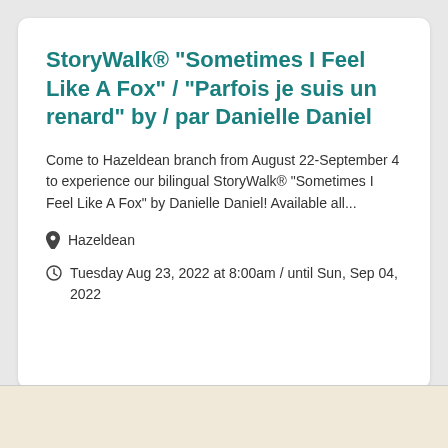StoryWalk® "Sometimes I Feel Like A Fox" / "Parfois je suis un renard" by / par Danielle Daniel
Come to Hazeldean branch from August 22-September 4 to experience our bilingual StoryWalk® "Sometimes I Feel Like A Fox" by Danielle Daniel! Available all...
Hazeldean
Tuesday Aug 23, 2022 at 8:00am / until Sun, Sep 04, 2022